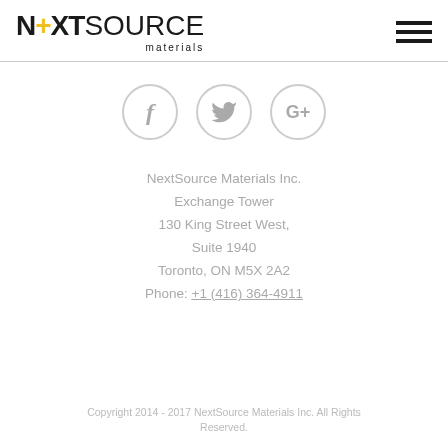NextSource Materials (logo) | hamburger menu
[Figure (illustration): Three social media icons in grey circular outlines: Facebook (f), Twitter (bird), Google+ (G+)]
NextSource Materials Inc.
Exchange Tower
130 King Street West,
Suite 1940
Toronto, ON M5X 2A2
Phone: +1 (416) 364-4911
Copyright 2014 - 2017 NextSource Materials Inc. All Rights Reserved.